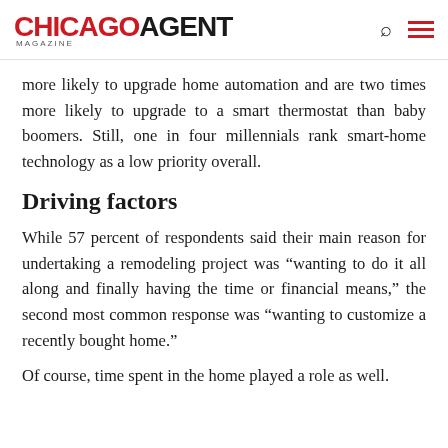CHICAGO AGENT MAGAZINE
more likely to upgrade home automation and are two times more likely to upgrade to a smart thermostat than baby boomers. Still, one in four millennials rank smart-home technology as a low priority overall.
Driving factors
While 57 percent of respondents said their main reason for undertaking a remodeling project was “wanting to do it all along and finally having the time or financial means,” the second most common response was “wanting to customize a recently bought home.”
Of course, time spent in the home played a role as well.